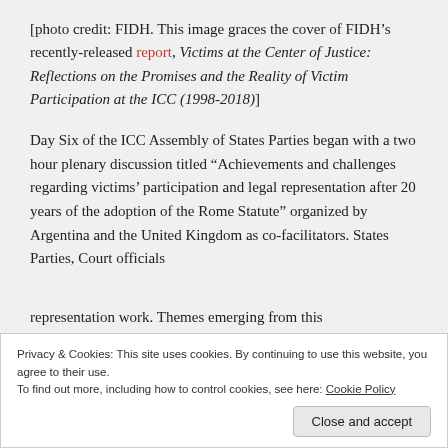[photo credit: FIDH. This image graces the cover of FIDH's recently-released report, Victims at the Center of Justice: Reflections on the Promises and the Reality of Victim Participation at the ICC (1998-2018)]
Day Six of the ICC Assembly of States Parties began with a two hour plenary discussion titled “Achievements and challenges regarding victims’ participation and legal representation after 20 years of the adoption of the Rome Statute” organized by Argentina and the United Kingdom as co-facilitators. States Parties, Court officials
representation work. Themes emerging from this
Privacy & Cookies: This site uses cookies. By continuing to use this website, you agree to their use.
To find out more, including how to control cookies, see here: Cookie Policy